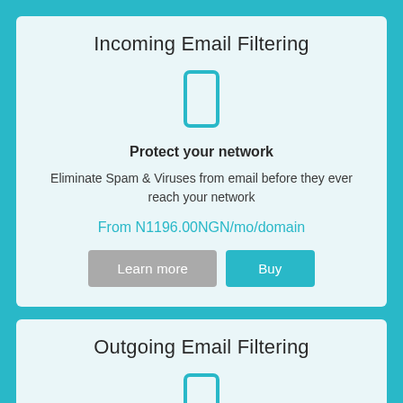Incoming Email Filtering
[Figure (illustration): Cyan outlined rectangle icon representing email/inbox]
Protect your network
Eliminate Spam & Viruses from email before they ever reach your network
From N1196.00NGN/mo/domain
Learn more  Buy
Outgoing Email Filtering
[Figure (illustration): Cyan outlined rectangle icon representing email/outbox]